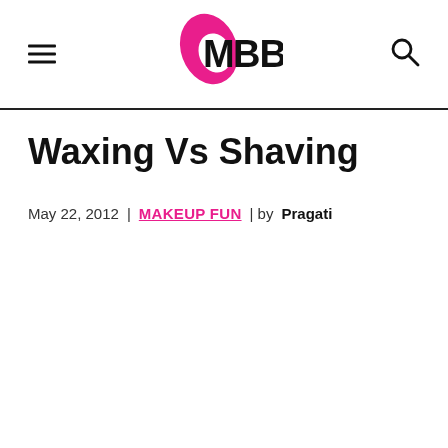IMBB - Waxing Vs Shaving blog header
Waxing Vs Shaving
May 22, 2012  |  MAKEUP FUN  | by Pragati